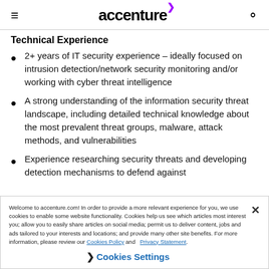accenture
Technical Experience
2+ years of IT security experience – ideally focused on intrusion detection/network security monitoring and/or working with cyber threat intelligence
A strong understanding of the information security threat landscape, including detailed technical knowledge about the most prevalent threat groups, malware, attack methods, and vulnerabilities
Experience researching security threats and developing detection mechanisms to defend against
Welcome to accenture.com! In order to provide a more relevant experience for you, we use cookies to enable some website functionality. Cookies help us see which articles most interest you; allow you to easily share articles on social media; permit us to deliver content, jobs and ads tailored to your interests and locations; and provide many other site benefits. For more information, please review our Cookies Policy and Privacy Statement.
Cookies Settings